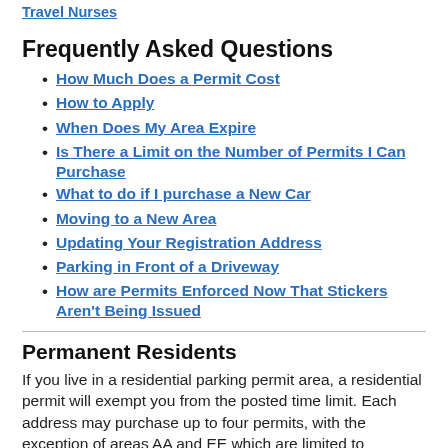Travel Nurses
Frequently Asked Questions
How Much Does a Permit Cost
How to Apply
When Does My Area Expire
Is There a Limit on the Number of Permits I Can Purchase
What to do if I purchase a New Car
Moving to a New Area
Updating Your Registration Address
Parking in Front of a Driveway
How are Permits Enforced Now That Stickers Aren't Being Issued
Permanent Residents
If you live in a residential parking permit area, a residential permit will exempt you from the posted time limit. Each address may purchase up to four permits, with the exception of areas AA and EE which are limited to